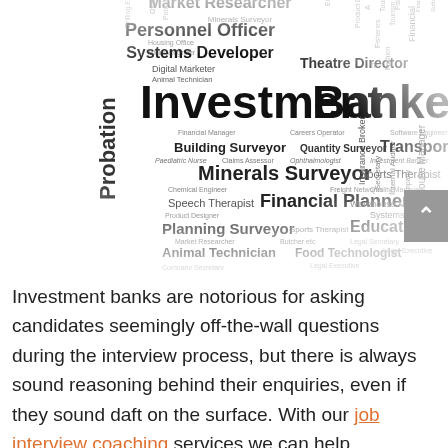[Figure (other): Word cloud of job titles with 'Investment Banker' prominently in the center, surrounded by many other career titles such as Market Researcher, Personnel Officer, Systems Developer, Theatre Director, Minerals Surveyor, Financial Planner, Transport Planner, Planning Surveyor, Education Officer, Psychiatric Nurse, Chemical Engineer, Freight Forwarder, Paediatric Nurse, and many others in varying font sizes.]
Investment banks are notorious for asking candidates seemingly off-the-wall questions during the interview process, but there is always sound reasoning behind their enquiries, even if they sound daft on the surface. With our job interview coaching services we can help